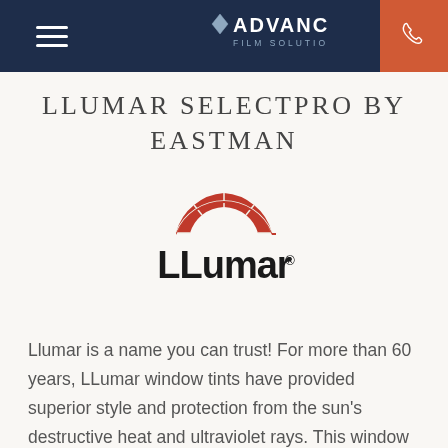Advanced Film Solutions, Inc.
LLUMAR SELECTPRO BY EASTMAN
[Figure (logo): LLumar logo with red segmented dome arc above the stylized text 'LLumar' with registered trademark symbol]
Llumar is a name you can trust! For more than 60 years, LLumar window tints have provided superior style and protection from the sun’s destructive heat and ultraviolet rays. This window film works to